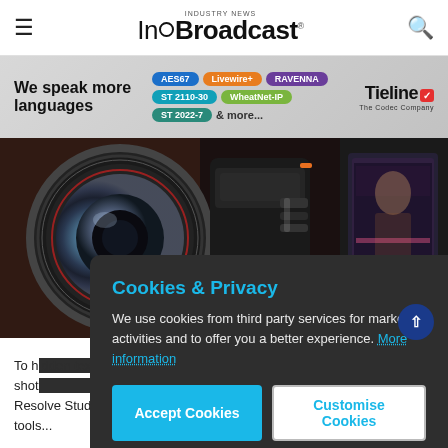InBroadcast - Industry News
[Figure (infographic): Tieline advertisement banner: 'We speak more languages' with protocol tags AES67, Livewire+, RAVENNA, ST 2110-30, WheatNet-IP, ST 2022-7, & more... and Tieline The Codec Company logo]
[Figure (photo): Broadcast camera equipment including a large lens and handheld camera devices]
Cookies & Privacy
We use cookies from third party services for marketing activities and to offer you a better experience. More information
To h... shot... Resolve Studio's color space transform and group gradi... tools...